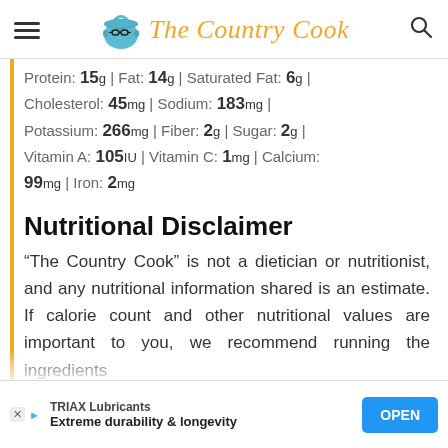The Country Cook
Protein: 15g | Fat: 14g | Saturated Fat: 6g | Cholesterol: 45mg | Sodium: 183mg | Potassium: 266mg | Fiber: 2g | Sugar: 2g | Vitamin A: 105IU | Vitamin C: 1mg | Calcium: 99mg | Iron: 2mg
Nutritional Disclaimer
“The Country Cook” is not a dietician or nutritionist, and any nutritional information shared is an estimate. If calorie count and other nutritional values are important to you, we recommend running the ingredients through a calorie calculator you...